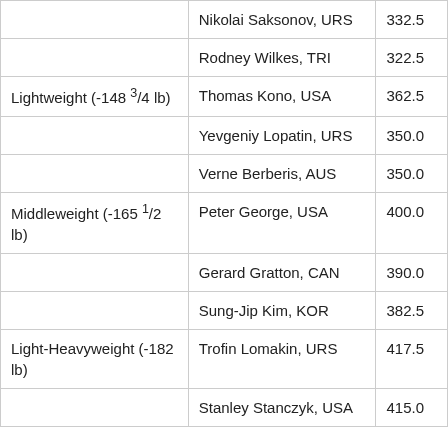| Category | Athlete | Score |
| --- | --- | --- |
|  | Nikolai Saksonov, URS | 332.5 |
|  | Rodney Wilkes, TRI | 322.5 |
| Lightweight (-148 3/4 lb) | Thomas Kono, USA | 362.5 |
|  | Yevgeniy Lopatin, URS | 350.0 |
|  | Verne Berberis, AUS | 350.0 |
| Middleweight (-165 1/2 lb) | Peter George, USA | 400.0 |
|  | Gerard Gratton, CAN | 390.0 |
|  | Sung-Jip Kim, KOR | 382.5 |
| Light-Heavyweight (-182 lb) | Trofin Lomakin, URS | 417.5 |
|  | Stanley Stanczyk, USA | 415.0 |